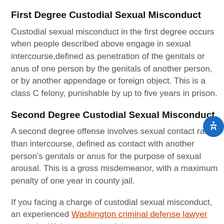First Degree Custodial Sexual Misconduct
Custodial sexual misconduct in the first degree occurs when people described above engage in sexual intercourse,defined as penetration of the genitals or anus of one person by the genitals of another person, or by another appendage or foreign object. This is a class C felony, punishable by up to five years in prison.
Second Degree Custodial Sexual Misconduct
A second degree offense involves sexual contact rather than intercourse, defined as contact with another person's genitals or anus for the purpose of sexual arousal. This is a gross misdemeanor, with a maximum penalty of one year in county jail.
If you facing a charge of custodial sexual misconduct, an experienced Washington criminal defense lawyer can help. Wehave protected the